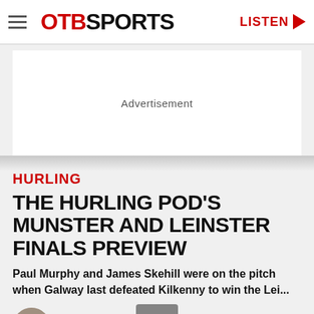OTB SPORTS | LISTEN
[Figure (other): Advertisement placeholder block]
HURLING
THE HURLING POD'S MUNSTER AND LEINSTER FINALS PREVIEW
Paul Murphy and James Skehill were on the pitch when Galway last defeated Kilkenny to win the Lei...
Will O'Callaghan  @willocallaghan